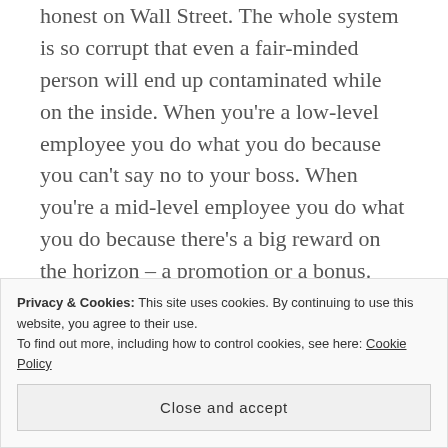honest on Wall Street. The whole system is so corrupt that even a fair-minded person will end up contaminated while on the inside. When you're a low-level employee you do what you do because you can't say no to your boss. When you're a mid-level employee you do what you do because there's a big reward on the horizon – a promotion or a bonus. When you're senior management you do what you do because you're in the spotlight, sometimes sought, sometimes undesired.
Privacy & Cookies: This site uses cookies. By continuing to use this website, you agree to their use.
To find out more, including how to control cookies, see here: Cookie Policy
Close and accept